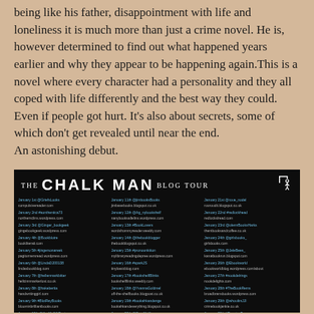being like his father, disappointment with life and loneliness it is much more than just a crime novel. He is, however determined to find out what happened years earlier and why they appear to be happening again.This is a novel where every character had a personality and they all coped with life differently and the best way they could. Even if people got hurt. It's also about secrets, some of which don't get revealed until near the end.
An astonishing debut.
[Figure (infographic): The Chalk Man Blog Tour promotional image with dark background, title and list of blog tour dates/URLs in three columns]